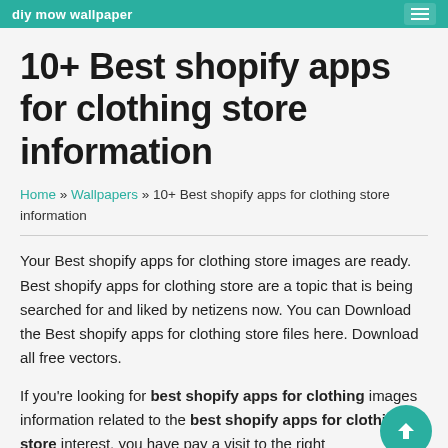diy mow wallpaper
10+ Best shopify apps for clothing store information
Home » Wallpapers » 10+ Best shopify apps for clothing store information
Your Best shopify apps for clothing store images are ready. Best shopify apps for clothing store are a topic that is being searched for and liked by netizens now. You can Download the Best shopify apps for clothing store files here. Download all free vectors.
If you're looking for best shopify apps for clothing images information related to the best shopify apps for clothing store interest, you have pay a visit to the right